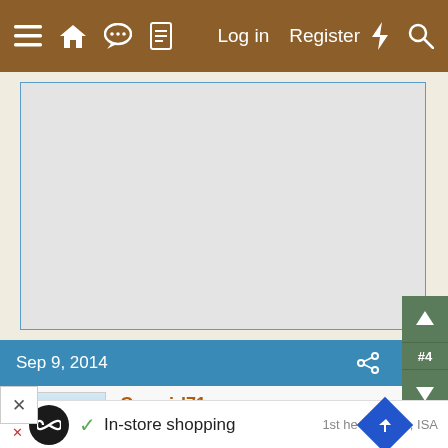≡ 🏠 💬 📄   Log in  Register  ⚡ 🔍
[Figure (screenshot): Gray content/advertisement area with light blue border]
Sep 9, 2014
Cowgirl71
Songster  9 Years
1st he... , ISA
In-store shopping